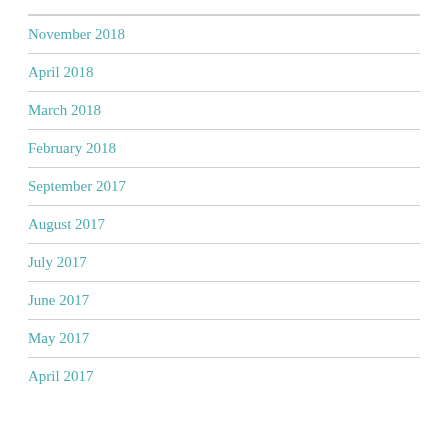November 2018
April 2018
March 2018
February 2018
September 2017
August 2017
July 2017
June 2017
May 2017
April 2017